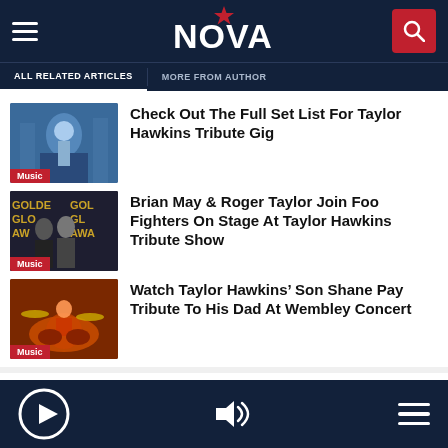NOVA
ALL RELATED ARTICLES
MORE FROM AUTHOR
Check Out The Full Set List For Taylor Hawkins Tribute Gig
Brian May & Roger Taylor Join Foo Fighters On Stage At Taylor Hawkins Tribute Show
Watch Taylor Hawkins' Son Shane Pay Tribute To His Dad At Wembley Concert
Player bar with play, volume, and menu controls